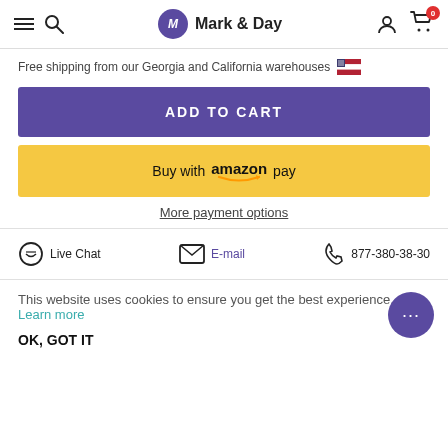Mark & Day — navigation header with hamburger menu, search, logo, user icon, and cart (0)
Free shipping from our Georgia and California warehouses 🇺🇸
ADD TO CART
Buy with amazon pay
More payment options
Live Chat   E-mail   877-380-38-30
This website uses cookies to ensure you get the best experience. Learn more
OK, GOT IT